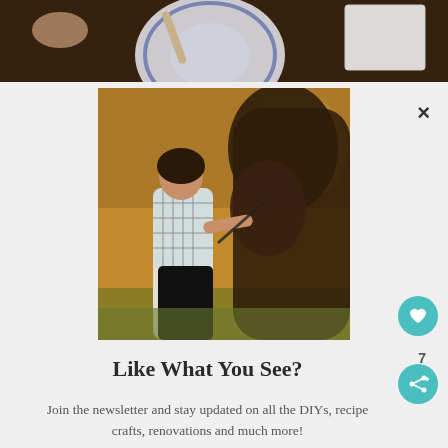[Figure (photo): Top strip photo showing a hand holding a spoon over a blue and white patterned plate on a dark wooden table, with a white box in the upper right corner.]
[Figure (photo): Portrait photo of a woman in a plaid shirt standing outdoors in autumn light, affectionately looking up at a large brown horse she is holding by the reins. Golden sunlight in background with trees and foliage.]
Like What You See?
Join the newsletter and stay updated on all the DIYs, recipe crafts, renovations and much more!